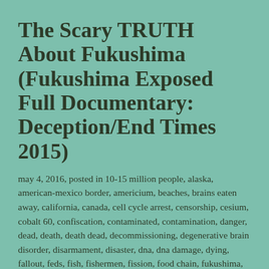The Scary TRUTH About Fukushima (Fukushima Exposed Full Documentary: Deception/End Times 2015)
may 4, 2016, posted in 10-15 million people, alaska, american-mexico border, americium, beaches, brains eaten away, california, canada, cell cycle arrest, censorship, cesium, cobalt 60, confiscation, contaminated, contamination, danger, dead, death, death dead, decommissioning, degenerative brain disorder, disarmament, disaster, dna, dna damage, dying, fallout, feds, fish, fishermen, fission, food chain, fukushima, geoengineered, gun ban treaty, hanford, hazard, heart breaking, inonizing radiation, iodine 131, japan, japan's national institute of radiological sciences, killing us, mainstream news media, mass die offs, nuclear, nuclear catastrophe, nuclear chemistry, nuked, pacific ocean